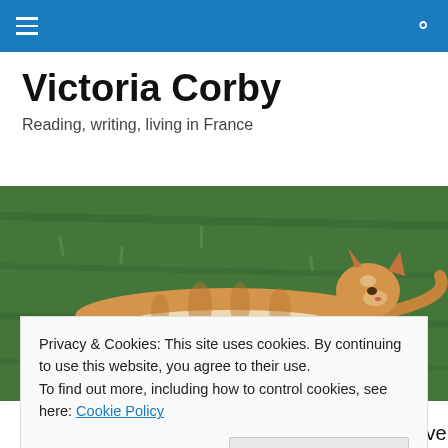Victoria Corby — navigation bar with hamburger menu and search icon
Victoria Corby
Reading, writing, living in France
[Figure (photo): An orange and white tabby cat lying stretched out on green grass, viewed from above.]
Privacy & Cookies: This site uses cookies. By continuing to use this website, you agree to their use.
To find out more, including how to control cookies, see here: Cookie Policy
Close and accept
their annual invitation to come and help them vendange